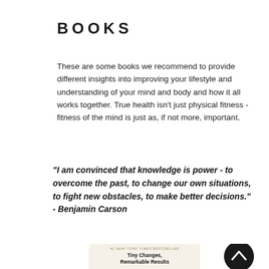BOOKS
These are some books we recommend to provide different insights into improving your lifestyle and understanding of your mind and body and how it all works together. True health isn't just physical fitness - fitness of the mind is just as, if not more, important.
"I am convinced that knowledge is power - to overcome the past, to change our own situations, to fight new obstacles, to make better decisions." - Benjamin Carson
[Figure (photo): Book cover of Atomic Habits by James Clear showing the title 'Atomic Habits' in large sandy/gold textured letters with subtitle 'Tiny Changes, Remarkable Results' and tagline 'An Easy & Proven Way...' at bottom. Marked as #1 New York Times Bestseller. A black circular scroll-to-top button with a chevron up arrow is visible to the right.]